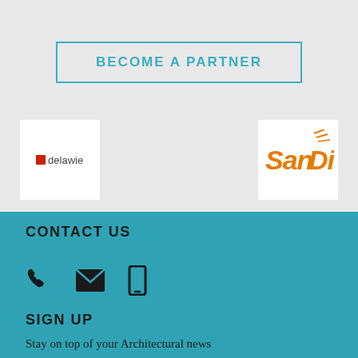BECOME A PARTNER
[Figure (logo): Delawie company logo — white square with red square icon and 'delawie' text in dark grey]
[Figure (logo): SanDi company logo — white square with orange italic stylized 'San Di' text]
CONTACT US
[Figure (infographic): Three contact icons: phone handset, envelope/email, and mobile phone]
SIGN UP
Stay on top of your Architectural news